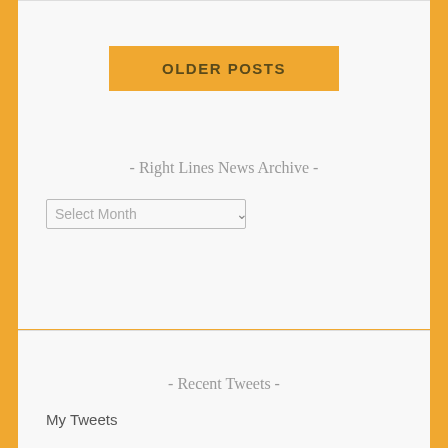OLDER POSTS
- Right Lines News Archive -
Select Month
- Recent Tweets -
My Tweets